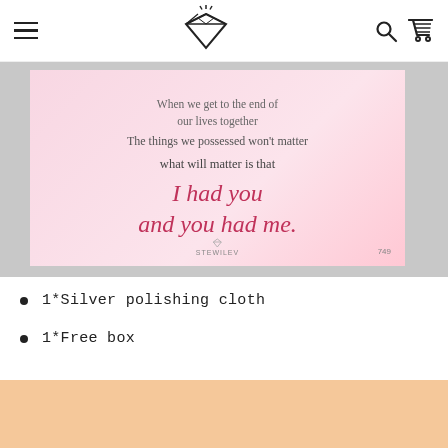Navigation header with hamburger menu, diamond logo, search and cart icons
[Figure (photo): Product image showing a pink gradient quote card reading: 'When we get to the end of our lives together / The things we possessed won't matter / what will matter is that / I had you and you had me.' with STEWILEV branding and number 749]
1*Silver polishing cloth
1*Free box
[Figure (photo): Partial view of a product on a peach/orange background]